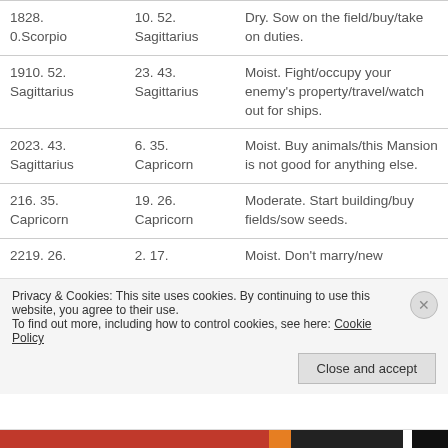| Col1 | Col2 | Col3 |
| --- | --- | --- |
| 1828.
0.Scorpio | 10. 52.
Sagittarius | Dry. Sow on the field/buy/take on duties. |
| 1910. 52.
Sagittarius | 23. 43.
Sagittarius | Moist. Fight/occupy your enemy's property/travel/watch out for ships. |
| 2023. 43.
Sagittarius | 6. 35.
Capricorn | Moist. Buy animals/this Mansion is not good for anything else. |
| 216. 35.
Capricorn | 19. 26.
Capricorn | Moderate. Start building/buy fields/sow seeds. |
| 2219. 26. | 2. 17. | Moist. Don't marry/new |
Privacy & Cookies: This site uses cookies. By continuing to use this website, you agree to their use.
To find out more, including how to control cookies, see here: Cookie Policy
Close and accept